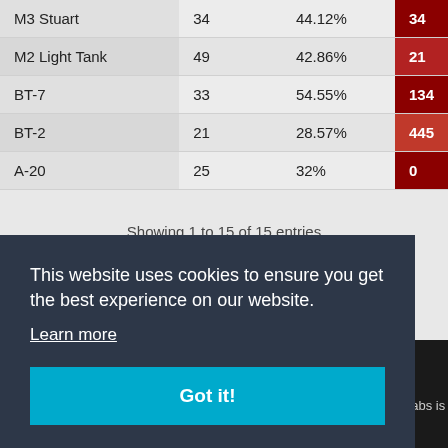| M3 Stuart | 34 | 44.12% | 34 |
| M2 Light Tank | 49 | 42.86% | 21 |
| BT-7 | 33 | 54.55% | 134 |
| BT-2 | 21 | 28.57% | 445 |
| A-20 | 25 | 32% | 0 |
Showing 1 to 15 of 15 entries
This website uses cookies to ensure you get the best experience on our website. Learn more
Got it!
TLabs is